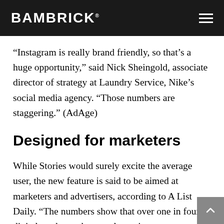BAMBRICK
“Instagram is really brand friendly, so that’s a huge opportunity,” said Nick Sheingold, associate director of strategy at Laundry Service, Nike’s social media agency. “Those numbers are staggering.” (AdAge)
Designed for marketers
While Stories would surely excite the average user, the new feature is said to be aimed at marketers and advertisers, according to A List Daily. “The numbers show that over one in four digital marketers have a plan to invest more money in Instagram over the next twelve months, as per Business Insider. Snapchat, as popular as it is with its millions of viewers, is still the less-